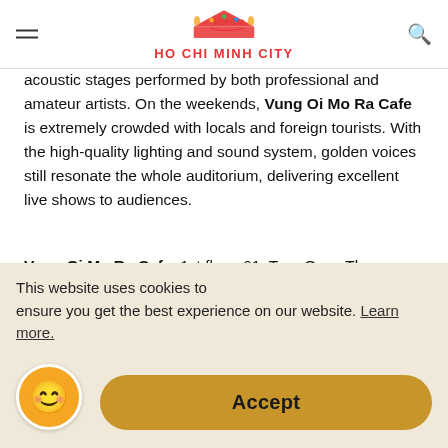Vibrant HO CHI MINH CITY
acoustic stages performed by both professional and amateur artists. On the weekends, Vung Oi Mo Ra Cafe is extremely crowded with locals and foreign tourists. With the high-quality lighting and sound system, golden voices still resonate the whole auditorium, delivering excellent live shows to audiences.
Vung Oi Mo Ra Cafe, 1st floor, 61, Tran Quoc Thao Street, Ward 7, District 3.
Opening hours (Monday - Sunday): 9:00 – 23:00.
Acoustic Bar
This website uses cookies to ensure you get the best experience on our website. Learn more.
Accept